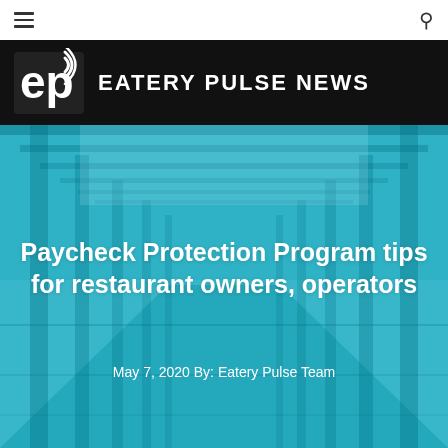≡  🔍
[Figure (logo): Eatery Pulse News logo: white stylized 'ep' with signal arcs, on black background, next to white uppercase text 'EATERY PULSE NEWS']
[Figure (photo): Teal-tinted photo of a restaurant outdoor corridor/pergola structure with repeating metal frames receding into background]
Paycheck Protection Program tips for restaurant owners, operators
May 7, 2020 By: Eatery Pulse Team